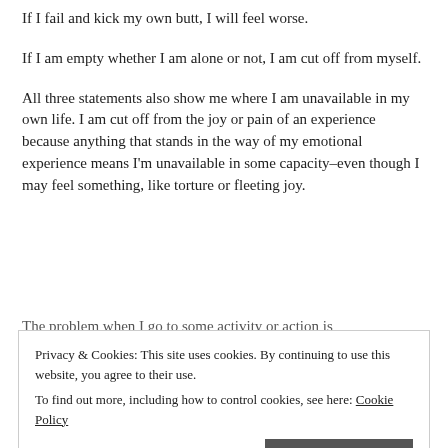If I fail and kick my own butt, I will feel worse.
If I am empty whether I am alone or not, I am cut off from myself.
All three statements also show me where I am unavailable in my own life. I am cut off from the joy or pain of an experience because anything that stands in the way of my emotional experience means I'm unavailable in some capacity–even though I may feel something, like torture or fleeting joy.
The problem when I go to some activity or action is
Privacy & Cookies: This site uses cookies. By continuing to use this website, you agree to their use. To find out more, including how to control cookies, see here: Cookie Policy
missing. The part which holds back from the full